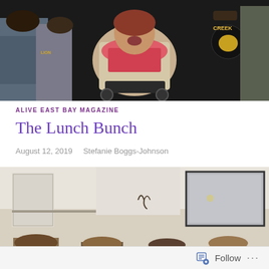[Figure (photo): Group photo showing a person in a wheelchair surrounded by several people; person in center wearing a light-colored outfit with pink scarf, others wearing dark clothing including jackets with team logos]
ALIVE EAST BAY MAGAZINE
The Lunch Bunch
August 12, 2019   Stefanie Boggs-Johnson
[Figure (photo): Indoor selfie photo of a group of women in what appears to be a bathroom or small room, taken from a low angle looking up; white walls, a mirror with a dark frame visible in the background]
Follow ...